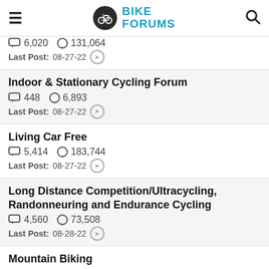Bike Forums
6,020 threads, 131,064 posts. Last Post: 08-27-22
Indoor & Stationary Cycling Forum. 448 threads, 6,893 posts. Last Post: 08-27-22
Living Car Free. 5,414 threads, 183,744 posts. Last Post: 08-27-22
Long Distance Competition/Ultracycling, Randonneuring and Endurance Cycling. 4,560 threads, 73,508 posts. Last Post: 08-28-22
Mountain Biking. 43,083 threads, 506,330 posts. Last Post: 08-28-22
Professional Cycling For the Fans. 6,000 threads, 134,940 posts.